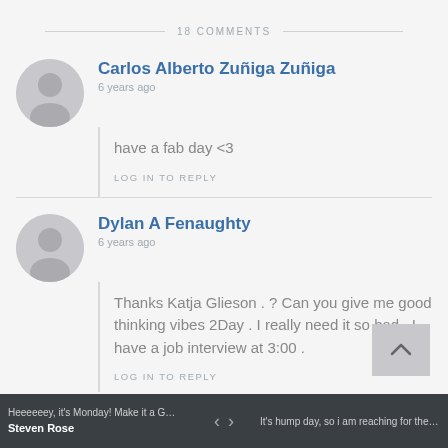18 COMMENTS
Carlos Alberto Zuñiga Zuñiga
6 years ago
have a fab day <3
LOG IN TO REPLY
Dylan A Fenaughty
6 years ago
Thanks Katja Glieson . ? Can you give me good thinking vibes 2Day . I really need it so bad . I have a job interview at 3:00 .
LOG IN TO REPLY
Heeeeeey, it's Monday! Make it a GREAT we... < > It's hump day, so i am reaching for the week... Steven Rose